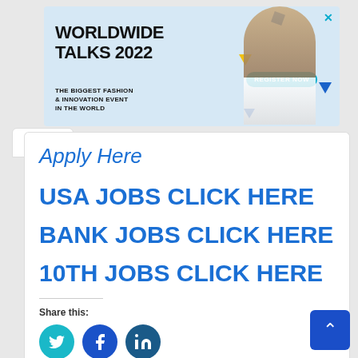[Figure (illustration): Worldwide Talks 2022 advertisement banner with fashion model, geometric shapes, and Register Now button]
Apply Here
USA JOBS CLICK HERE
BANK JOBS CLICK HERE
10TH JOBS CLICK HERE
Share this:
[Figure (illustration): Social share icons: Twitter, Facebook, LinkedIn]